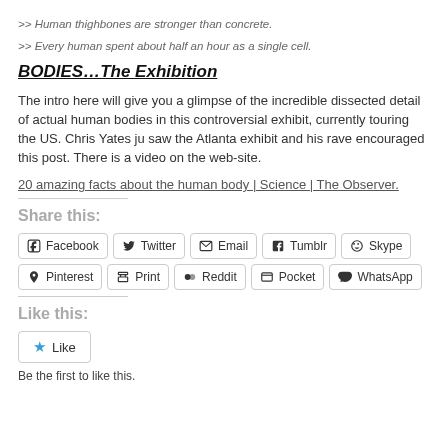>> Human thighbones are stronger than concrete.
>> Every human spent about half an hour as a single cell.
BODIES…The Exhibition
The intro here will give you a glimpse of the incredible dissected detail of actual human bodies in this controversial exhibit, currently touring the US. Chris Yates just saw the Atlanta exhibit and his rave encouraged this post. There is a video on the web-site.
20 amazing facts about the human body | Science | The Observer.
Share this:
[Figure (infographic): Social share buttons: Facebook, Twitter, Email, Tumblr, Skype, Pinterest, Print, Reddit, Pocket, WhatsApp]
Like this:
[Figure (infographic): Like button with star icon]
Be the first to like this.